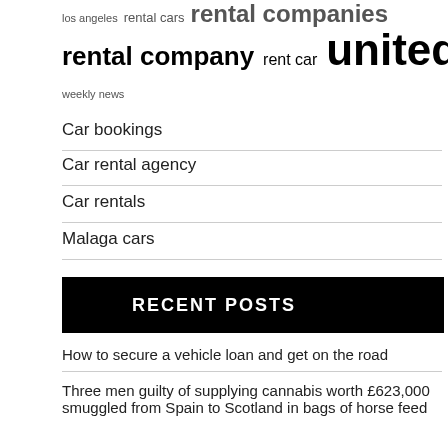los angeles  rental cars  rental companies
rental company  rent car  united states
weekly news
Car bookings
Car rental agency
Car rentals
Malaga cars
RECENT POSTS
How to secure a vehicle loan and get on the road
Three men guilty of supplying cannabis worth £623,000 smuggled from Spain to Scotland in bags of horse feed